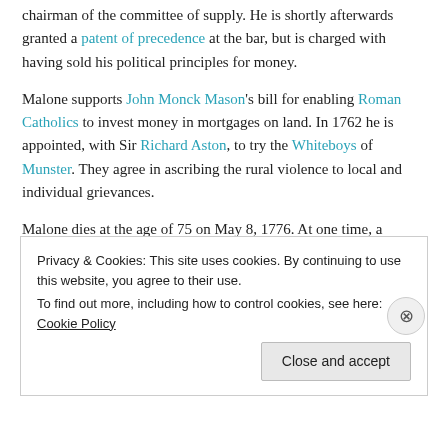chairman of the committee of supply. He is shortly afterwards granted a patent of precedence at the bar, but is charged with having sold his political principles for money.
Malone supports John Monck Mason's bill for enabling Roman Catholics to invest money in mortgages on land. In 1762 he is appointed, with Sir Richard Aston, to try the Whiteboys of Munster. They agree in ascribing the rural violence to local and individual grievances.
Malone dies at the age of 75 on May 8, 1776. At one time, a marble bust of him adorned Baronston House. By his
Privacy & Cookies: This site uses cookies. By continuing to use this website, you agree to their use.
To find out more, including how to control cookies, see here: Cookie Policy